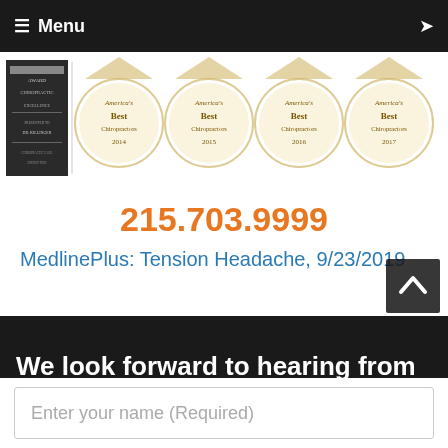Menu
[Figure (photo): Awards banner showing a dark plaque/certificate on the left and four 'America's Best Chiropractors' gold seal badges for years 2014, 2015, 2016, and 2017]
215.703.9999
MedlinePlus: Tension Headache, 9/23/2019
We look forward to hearing from you
Enter your name (Required)